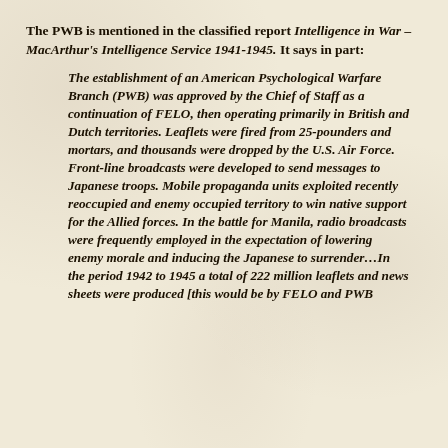The PWB is mentioned in the classified report Intelligence in War – MacArthur's Intelligence Service 1941-1945. It says in part:
The establishment of an American Psychological Warfare Branch (PWB) was approved by the Chief of Staff as a continuation of FELO, then operating primarily in British and Dutch territories. Leaflets were fired from 25-pounders and mortars, and thousands were dropped by the U.S. Air Force. Front-line broadcasts were developed to send messages to Japanese troops. Mobile propaganda units exploited recently reoccupied and enemy occupied territory to win native support for the Allied forces. In the battle for Manila, radio broadcasts were frequently employed in the expectation of lowering enemy morale and inducing the Japanese to surrender…In the period 1942 to 1945 a total of 222 million leaflets and news sheets were produced [this would be by FELO and PWB